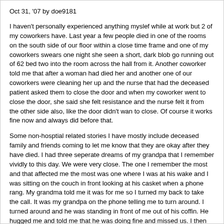Oct 31, '07 by doe9181
I haven't personally experienced anything myslef while at work but 2 of my coworkers have. Last year a few people died in one of the rooms on the south side of our floor within a close time frame and one of my coworkers swears one night she seen a short, dark blob go running out of 62 bed two into the room across the hall from it. Another coworker told me that after a woman had died her and another one of our coworkers were cleaning her up and the nurse that had the deceased patient asked them to close the door and when my coworker went to close the door, she said she felt resistance and the nurse felt it from the other side also, like the door didn't wan to close. Of course it works fine now and always did before that.
Some non-hosptial related stories I have mostly include deceased family and friends coming to let me know that they are okay after they have died. I had three seperate dreams of my grandpa that I remember vividly to this day. We were very close. The one I remember the most and that affected me the most was one where I was at his wake and I was sitting on the couch in front looking at his casket when a phone rang. My grandma told me it was for me so I turned my back to take the call. It was my grandpa on the phone telling me to turn around. I turned around and he was standing in front of me out of his coffin. He hugged me and told me that he was doing fine and missed us. I then said to him, "but grandpa, aren't you supposed to be dead?" And he said, "Yeah, I guess I am." He said it in a really sad voice and then turned around and got back in his coffin. Made me really sad.
Another story I have is one of a friend of mine that died in a drunk driving accident in high school. I was best friends with her sister growing up before they moved away to the suburbs and switched schools. About two weeks after she died she came to me in a dream and told me she was doing alright